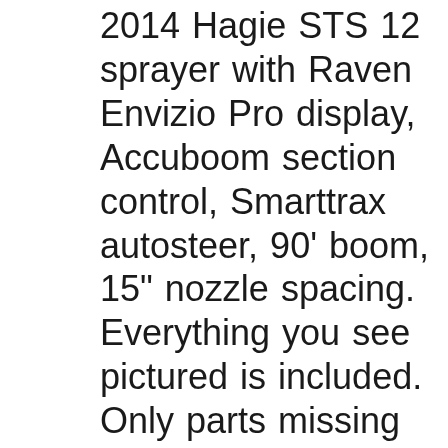2014 Hagie STS 12 sprayer with Raven Envizio Pro display, Accuboom section control, Smarttrax autosteer, 90' boom, 15" nozzle spacing. Everything you see pictured is included. Only parts missing out of the kit are the gps connections PN: 4004341-2 and 4004342-12. Has been updated on the hook up. Fits 2014 and newer Hagie STS machines self propelled factory boom 100 ft left fence row nozzle right fence row nozzle single tank rinse tank stainless steel tank stainless steel boom plumbing 1200 gallon tank 320/90r46 raven rate controller 3'"" fill front fill side fill belly shields fenders foam marker 3 sensor boom leveler 20'"" nozzle spacing on center instructional seat deluxe radio